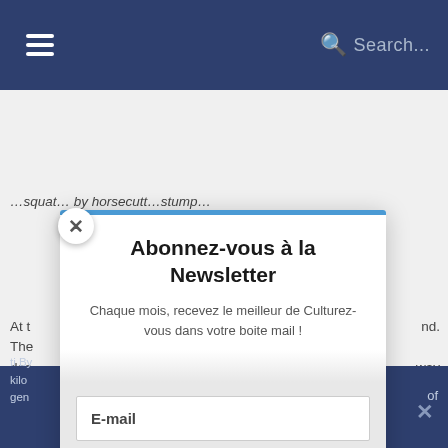Search...
At t... nd. The... des... way for... suc... co hav... ling of L... Lor... XII, mac... t at ti By... of kilo... gen...
Abonnez-vous à la Newsletter
Chaque mois, recevez le meilleur de Culturez-vous dans votre boite mail !
E-mail
Je m'abonne !